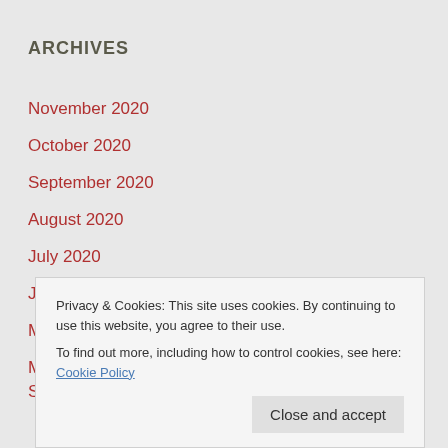ARCHIVES
November 2020
October 2020
September 2020
August 2020
July 2020
June 2020
May 2020
March 2018
September 2017
Privacy & Cookies: This site uses cookies. By continuing to use this website, you agree to their use.
To find out more, including how to control cookies, see here: Cookie Policy
Close and accept